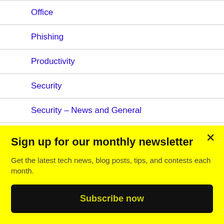Office
Phishing
Productivity
Security
Security – News and General
Shiny Gadget
Sign up for our monthly newsletter
Get the latest tech news, blog posts, tips, and contests each month.
Subscribe now